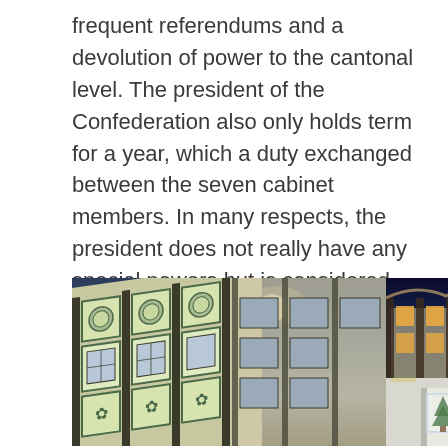frequent referendums and a devolution of power to the cantonal level. The president of the Confederation also only holds term for a year, which a duty exchanged between the seven cabinet members. In many respects, the president does not really have any special powers but is considered the 'first among equals' and the president actually retains their original cabinet role alongside the presidency.
[Figure (photo): Two photographs of Swiss traditional architecture buildings at night/dusk, featuring ornate painted facades with decorative medallions and multi-pane windows. The main large photo shows a building with green and white painted panels with floral/leaf motifs lit up at night with a full moon visible. Two smaller photos on the right show similar buildings with illuminated facades.]